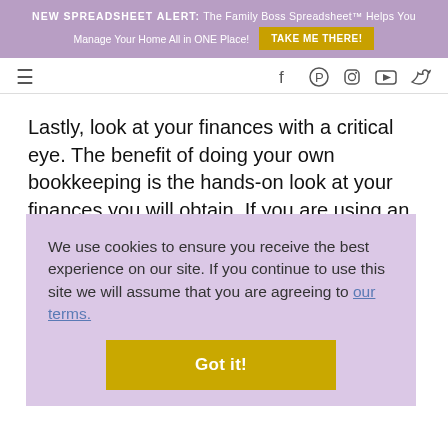NEW SPREADSHEET ALERT: The Family Boss Spreadsheet™ Helps You Manage Your Home All in ONE Place! TAKE ME THERE!
≡ [nav icons: facebook, pinterest, instagram, youtube, twitter]
Lastly, look at your finances with a critical eye. The benefit of doing your own bookkeeping is the hands-on look at your finances you will obtain. If you are using an online accounting program, run a Pr... sp... ex...
We use cookies to ensure you receive the best experience on our site. If you continue to use this site we will assume that you are agreeing to our terms.
Wh... qu...